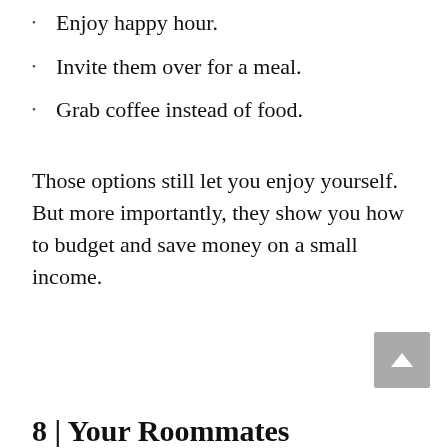Enjoy happy hour.
Invite them over for a meal.
Grab coffee instead of food.
Those options still let you enjoy yourself. But more importantly, they show you how to budget and save money on a small income.
8 | Your Roommates